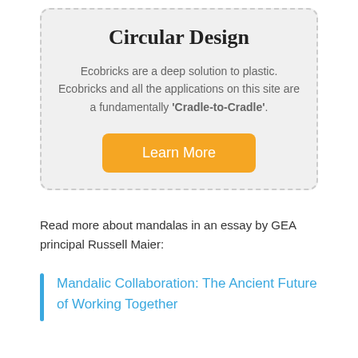Circular Design
Ecobricks are a deep solution to plastic. Ecobricks and all the applications on this site are a fundamentally 'Cradle-to-Cradle'.
Learn More
Read more about mandalas in an essay by GEA principal Russell Maier:
Mandalic Collaboration: The Ancient Future of Working Together